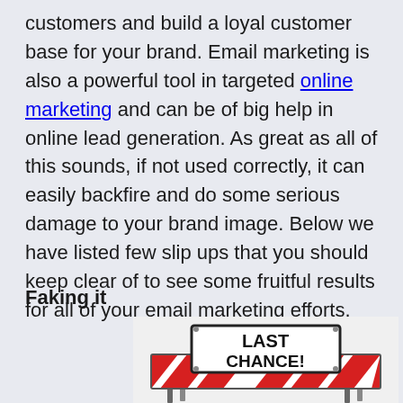customers and build a loyal customer base for your brand. Email marketing is also a powerful tool in targeted online marketing and can be of big help in online lead generation. As great as all of this sounds, if not used correctly, it can easily backfire and do some serious damage to your brand image. Below we have listed few slip ups that you should keep clear of to see some fruitful results for all of your email marketing efforts.
Faking it
[Figure (photo): A red and white striped road barrier/barricade sign with a white rectangular sign mounted on it reading 'LAST CHANCE!' in large bold black text.]